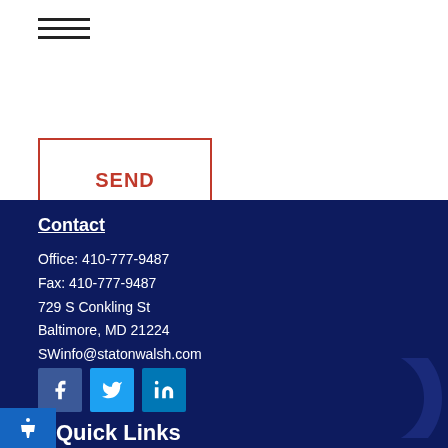[Figure (other): Hamburger menu icon (three horizontal lines)]
SEND
Contact
Office: 410-777-9487
Fax: 410-777-9487
729 S Conkling St
Baltimore, MD 21224
SWinfo@statonwalsh.com
[Figure (other): Social media icons: Facebook, Twitter, LinkedIn]
Quick Links